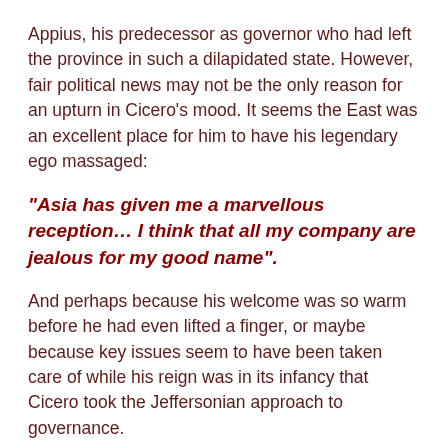Appius, his predecessor as governor who had left the province in such a dilapidated state. However, fair political news may not be the only reason for an upturn in Cicero's mood. It seems the East was an excellent place for him to have his legendary ego massaged:
“Asia has given me a marvellous reception… I think that all my company are jealous for my good name”.
And perhaps because his welcome was so warm before he had even lifted a finger, or maybe because key issues seem to have been taken care of while his reign was in its infancy that Cicero took the Jeffersonian approach to governance.
There has been a suggestion that Cicero’s ‘small government’ line was simply out of apathy, that he let the province run itself because it was unworthy of